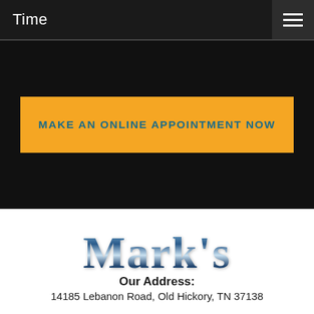Time
MAKE AN ONLINE APPOINTMENT NOW
[Figure (logo): Mark's Automotive Repair Center chrome/metallic styled logo with 'Mark's' in large serif metallic blue lettering and 'Automotive Repair Center' in smaller gray sans-serif text below]
Our Address:
14185 Lebanon Road, Old Hickory, TN 37138